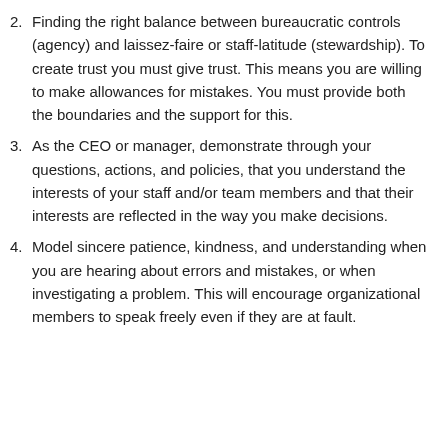2. Finding the right balance between bureaucratic controls (agency) and laissez-faire or staff-latitude (stewardship). To create trust you must give trust. This means you are willing to make allowances for mistakes. You must provide both the boundaries and the support for this.
3. As the CEO or manager, demonstrate through your questions, actions, and policies, that you understand the interests of your staff and/or team members and that their interests are reflected in the way you make decisions.
4. Model sincere patience, kindness, and understanding when you are hearing about errors and mistakes, or when investigating a problem. This will encourage organizational members to speak freely even if they are at fault.